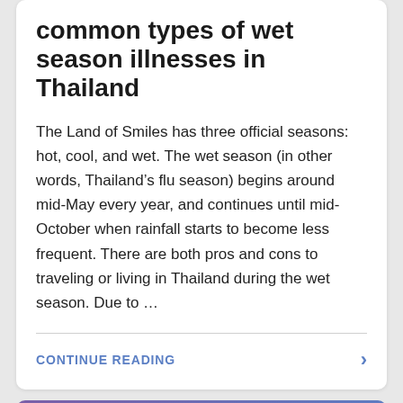common types of wet season illnesses in Thailand
The Land of Smiles has three official seasons: hot, cool, and wet. The wet season (in other words, Thailand’s flu season) begins around mid-May every year, and continues until mid-October when rainfall starts to become less frequent. There are both pros and cons to traveling or living in Thailand during the wet season. Due to …
CONTINUE READING